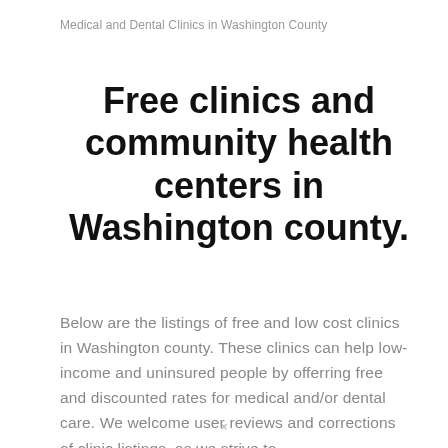Medical and Dental Clinics in Washington County
Free clinics and community health centers in Washington county.
Below are the listings of free and low cost clinics in Washington county. These clinics can help low-income and uninsured people by offerring free and discounted rates for medical and/or dental care. We welcome user reviews and corrections of clinic listings, as we strive to